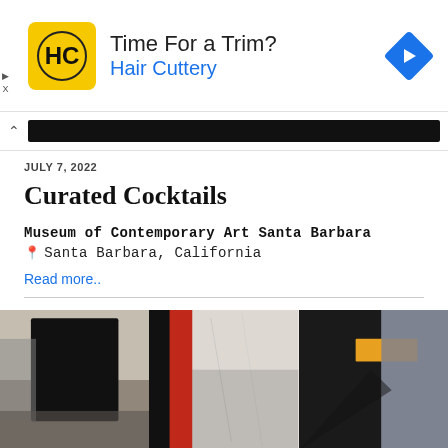[Figure (other): Advertisement banner for Hair Cuttery showing HC logo in yellow square, headline 'Time For a Trim?' and brand name 'Hair Cuttery' in blue, with a blue navigation diamond icon on the right.]
Curated Cocktails
Museum of Contemporary Art Santa Barbara
Santa Barbara, California
Read more..
[Figure (photo): Three abstract paintings shown side by side: left image with dark black forms over gray misty background; center image with red and black vertical forms; right image partially visible with dark shapes and orange/yellow highlight.]